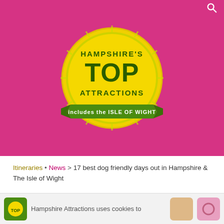[Figure (logo): Hampshire's Top Attractions logo — yellow circular badge with green 'TOP' text and green banner reading 'includes the Isle of Wight', on a magenta/pink background]
Itineraries • News > 17 best dog friendly days out in Hampshire & The Isle of Wight
17 best dog friendly days out in Hampshire & The Isle of Wight
If you're looking for things to do in Hampshire and the Isle of Wight with a dog, we've got you covered with a range of days out and attractions. We've even found places that let dogs in for free!
We here at Hampshire's Top Attractions know just how special
Hampshire Attractions uses cookies to